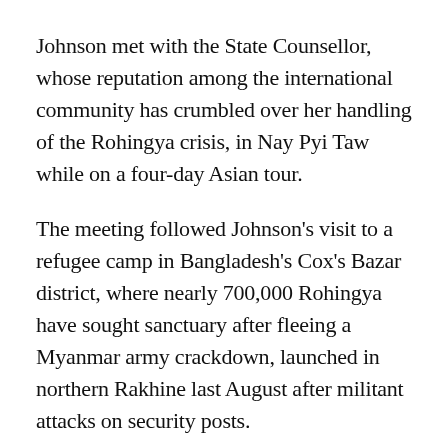Johnson met with the State Counsellor, whose reputation among the international community has crumbled over her handling of the Rohingya crisis, in Nay Pyi Taw while on a four-day Asian tour.
The meeting followed Johnson's visit to a refugee camp in Bangladesh's Cox's Bazar district, where nearly 700,000 Rohingya have sought sanctuary after fleeing a Myanmar army crackdown, launched in northern Rakhine last August after militant attacks on security posts.
The UN has accused Myanmar security forces of driving the Muslim minority across the border in an ethnic cleansing campaign.